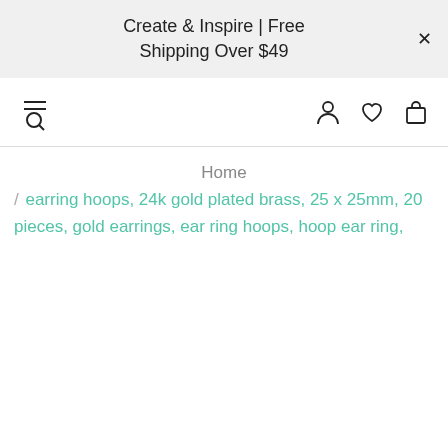Create & Inspire | Free Shipping Over $49
Home / earring hoops, 24k gold plated brass, 25 x 25mm, 20 pieces, gold earrings, ear ring hoops, hoop ear ring,